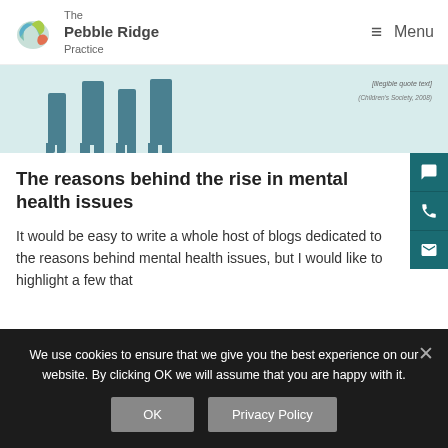The Pebble Ridge Practice — Menu
[Figure (illustration): Light teal background with dark teal silhouettes of two adults and two children figures standing. On the right side, an italic quote and source citation (Children's Society, 2008) are partially visible.]
The reasons behind the rise in mental health issues
It would be easy to write a whole host of blogs dedicated to the reasons behind mental health issues, but I would like to highlight a few that
We use cookies to ensure that we give you the best experience on our website. By clicking OK we will assume that you are happy with it.